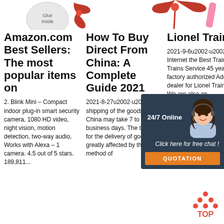[Figure (photo): Top banner area with product images: a circle icon with 'Glue Inside' text, a red bow/ribbon decoration, and a pink stick/pen]
Amazon.com Best Sellers: The most popular items on
How To Buy Direct From China: A Complete Guide 2021
Lionel Trains
2. Blink Mini – Compact indoor plug-in smart security camera, 1080 HD video, night vision, motion detection, two-way audio, Works with Alexa – 1 camera. 4.5 out of 5 stars. 189,811...
2021-8-27u2002·u2002The shipping of the goods from China may take 7 to 20 business days. The taken for the delivery of goods is greatly affected by the method of
2021-9-6u2002·u2002 Internet the Best Trains. Trains Service 45 years a factory authorized Added dealer for Lionel Trains. We are also an authorized Rep and Service Center for Lionel Trains old and
[Figure (screenshot): Customer support chat widget overlay with dark navy background showing '24/7 Online', photo of woman with headset, 'Click here for free chat!' text, and orange QUOTATION button]
[Figure (logo): Orange TOP badge/logo with upward arrow dots design]